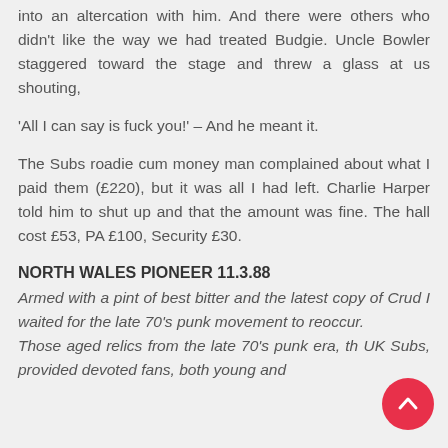into an altercation with him. And there were others who didn't like the way we had treated Budgie. Uncle Bowler staggered toward the stage and threw a glass at us shouting,
'All I can say is fuck you!' – And he meant it.
The Subs roadie cum money man complained about what I paid them (£220), but it was all I had left. Charlie Harper told him to shut up and that the amount was fine. The hall cost £53, PA £100, Security £30.
NORTH WALES PIONEER 11.3.88
Armed with a pint of best bitter and the latest copy of Crud I waited for the late 70's punk movement to reoccur.
Those aged relics from the late 70's punk era, the UK Subs, provided devoted fans, both young and